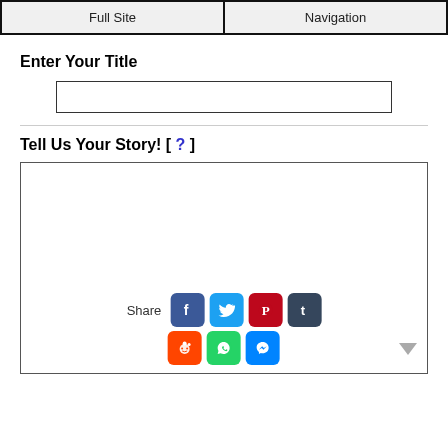Full Site | Navigation
Enter Your Title
Tell Us Your Story! [ ? ]
[Figure (screenshot): Large text area input box with social share icons (Facebook, Twitter, Pinterest, Tumblr, Reddit, WhatsApp, Messenger) at the bottom and a downward chevron arrow on the right.]